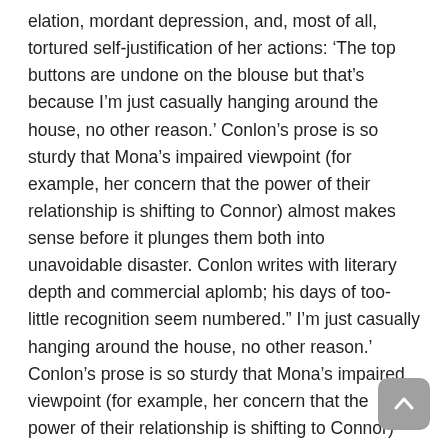elation, mordant depression, and, most of all, tortured self-justification of her actions: 'The top buttons are undone on the blouse but that's because I'm just casually hanging around the house, no other reason.' Conlon's prose is so sturdy that Mona's impaired viewpoint (for example, her concern that the power of their relationship is shifting to Connor) almost makes sense before it plunges them both into unavoidable disaster. Conlon writes with literary depth and commercial aplomb; his days of too-little recognition seem numbered." I'm just casually hanging around the house, no other reason.' Conlon's prose is so sturdy that Mona's impaired viewpoint (for example, her concern that the power of their relationship is shifting to Connor) almost makes sense before it plunges them both into unavoidable disaster. Conlon writes with literary depth and commercial aplomb; his days of too-little